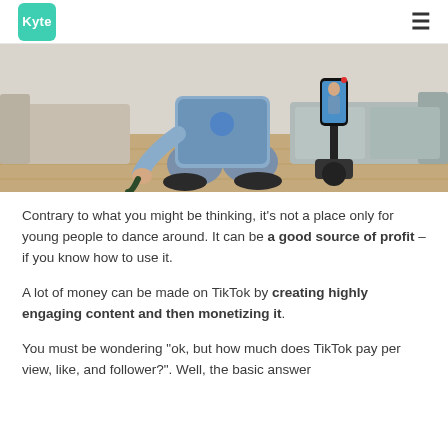Kyte
[Figure (photo): Person sitting on the floor in jeans and sneakers filming themselves with a smartphone on a gimbal stabilizer, with a couch and wooden floor in the background.]
Contrary to what you might be thinking, it's not a place only for young people to dance around. It can be a good source of profit – if you know how to use it.
A lot of money can be made on TikTok by creating highly engaging content and then monetizing it.
You must be wondering "ok, but how much does TikTok pay per view, like, and follower?". Well, the basic answer